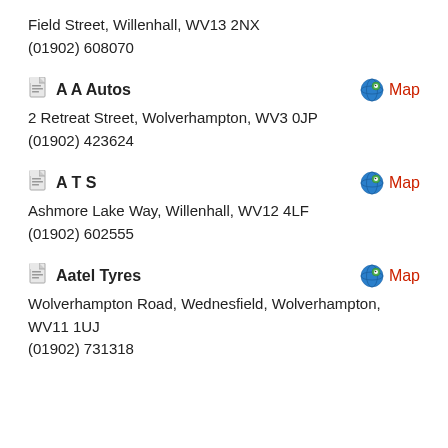Field Street, Willenhall, WV13 2NX
(01902) 608070
A A Autos
2 Retreat Street, Wolverhampton, WV3 0JP
(01902) 423624
A T S
Ashmore Lake Way, Willenhall, WV12 4LF
(01902) 602555
Aatel Tyres
Wolverhampton Road, Wednesfield, Wolverhampton, WV11 1UJ
(01902) 731318